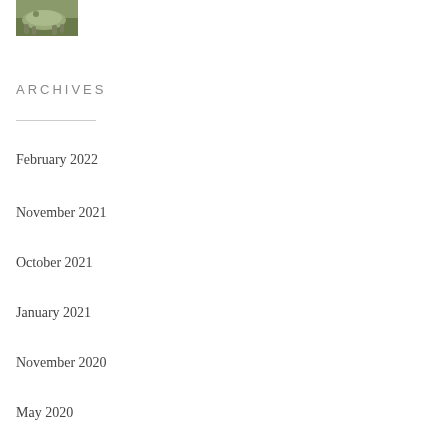[Figure (photo): Small thumbnail image of a lizard or reptile on a natural background]
ARCHIVES
February 2022
November 2021
October 2021
January 2021
November 2020
May 2020